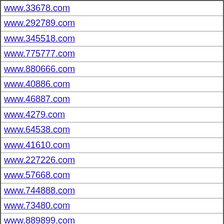| www.33678.com |
| www.292789.com |
| www.345518.com |
| www.775777.com |
| www.880666.com |
| www.40886.com |
| www.46887.com |
| www.4279.com |
| www.64538.com |
| www.41610.com |
| www.227226.com |
| www.57668.com |
| www.744888.com |
| www.73480.com |
| www.889899.com |
| www.518678.com |
| www.61383.com |
| www.555819.com |
| www.4238.com |